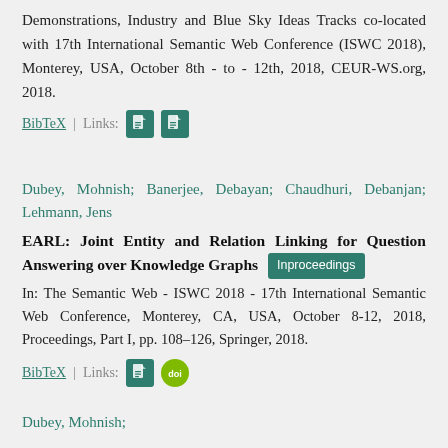Demonstrations, Industry and Blue Sky Ideas Tracks co-located with 17th International Semantic Web Conference (ISWC 2018), Monterey, USA, October 8th - to - 12th, 2018, CEUR-WS.org, 2018.
BibTeX | Links: [pdf] [pdf]
Dubey, Mohnish; Banerjee, Debayan; Chaudhuri, Debanjan; Lehmann, Jens
EARL: Joint Entity and Relation Linking for Question Answering over Knowledge Graphs [Inproceedings]
In: The Semantic Web - ISWC 2018 - 17th International Semantic Web Conference, Monterey, CA, USA, October 8-12, 2018, Proceedings, Part I, pp. 108–126, Springer, 2018.
BibTeX | Links: [pdf] [doi]
Dubey, Mohnish; ...